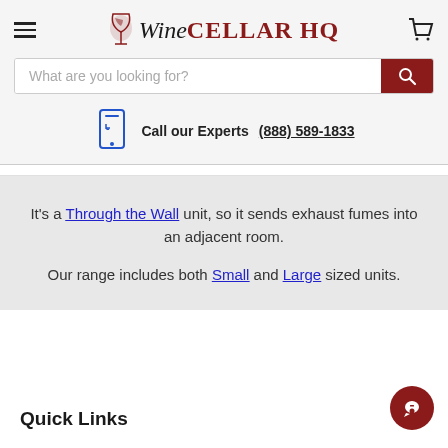Wine Cellar HQ
What are you looking for?
Call our Experts  (888) 589-1833
It's a Through the Wall unit, so it sends exhaust fumes into an adjacent room. Our range includes both Small and Large sized units.
Quick Links